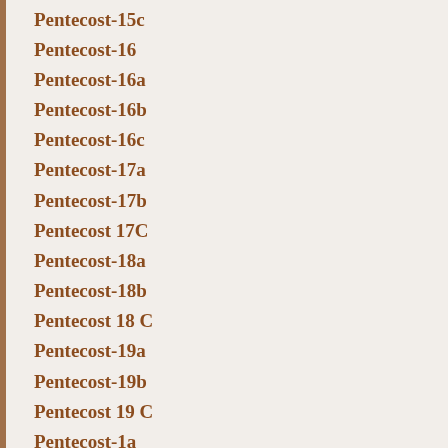Pentecost-15c
Pentecost-16
Pentecost-16a
Pentecost-16b
Pentecost-16c
Pentecost-17a
Pentecost-17b
Pentecost 17C
Pentecost-18a
Pentecost-18b
Pentecost 18 C
Pentecost-19a
Pentecost-19b
Pentecost 19 C
Pentecost-1a
Pentecost-20a
Pentecost-20b
Pentecost 20 C
Pentecost-21a